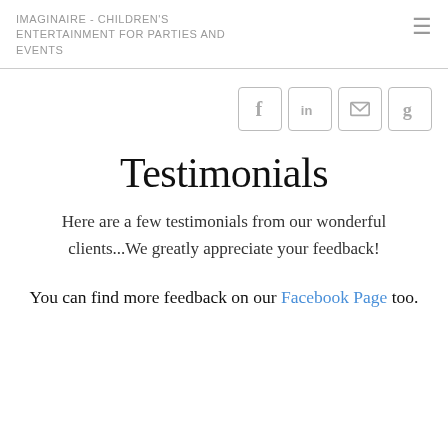IMAGINAIRE - CHILDREN'S ENTERTAINMENT FOR PARTIES AND EVENTS
[Figure (other): Four social media icon buttons in rounded square boxes: Facebook (f), LinkedIn (in), email/envelope, Google (g)]
Testimonials
Here are a few testimonials from our wonderful clients...We greatly appreciate your feedback!
You can find more feedback on our Facebook Page too.